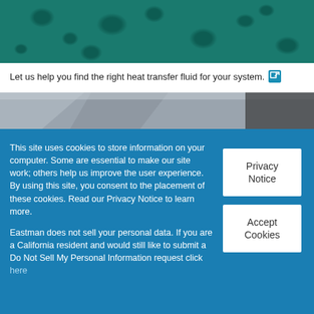[Figure (photo): Teal/green background with dark circular organic shapes, top banner image]
Let us help you find the right heat transfer fluid for your system.
[Figure (photo): Mid-page horizontal banner image with gray and brown tones, angled lines]
This site uses cookies to store information on your computer. Some are essential to make our site work; others help us improve the user experience. By using this site, you consent to the placement of these cookies. Read our Privacy Notice to learn more.

Eastman does not sell your personal data. If you are a California resident and would still like to submit a Do Not Sell My Personal Information request click here